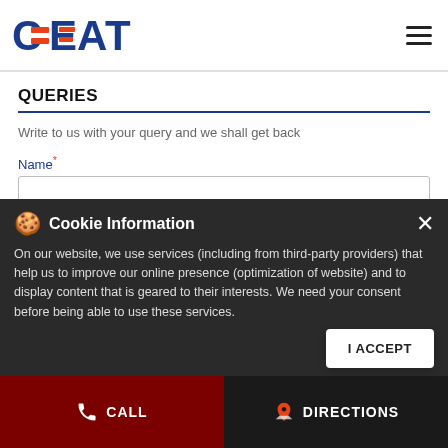CEAT logo and navigation menu
QUERIES
Write to us with your query and we shall get back
Name*
Email ID*
Cookie Information — On our website, we use services (including from third-party providers) that help us to improve our online presence (optimization of website) and to display content that is geared to their interests. We need your consent before being able to use these services.
Description*
CALL | DIRECTIONS